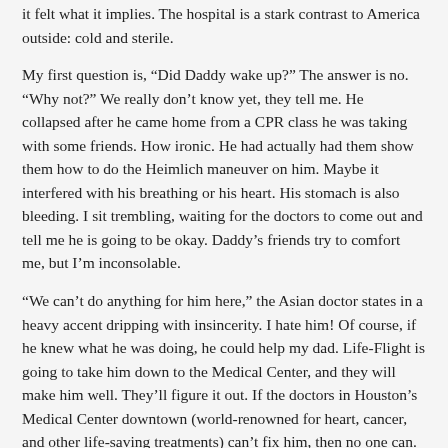it felt what it implies. The hospital is a stark contrast to America outside: cold and sterile.
My first question is, “Did Daddy wake up?” The answer is no. “Why not?” We really don’t know yet, they tell me. He collapsed after he came home from a CPR class he was taking with some friends. How ironic. He had actually had them show them how to do the Heimlich maneuver on him. Maybe it interfered with his breathing or his heart. His stomach is also bleeding. I sit trembling, waiting for the doctors to come out and tell me he is going to be okay. Daddy’s friends try to comfort me, but I’m inconsolable.
“We can’t do anything for him here,” the Asian doctor states in a heavy accent dripping with insincerity. I hate him! Of course, if he knew what he was doing, he could help my dad. Life-Flight is going to take him down to the Medical Center, and they will make him well. They’ll figure it out. If the doctors in Houston’s Medical Center downtown (world-renowned for heart, cancer, and other life-saving treatments) can’t fix him, then no one can.
We watch the bright red helicopter take off into the lonely, blue sky. They’ll be at the other hospital before we are.